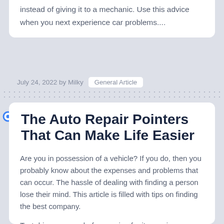instead of giving it to a mechanic. Use this advice when you next experience car problems....
July 24, 2022 by Milky   General Article
The Auto Repair Pointers That Can Make Life Easier
Are you in possession of a vehicle? If you do, then you probably know about the expenses and problems that can occur. The hassle of dealing with finding a person lose their mind. This article is filled with tips on finding the best company.
Test drive your car before paying for its repairs.